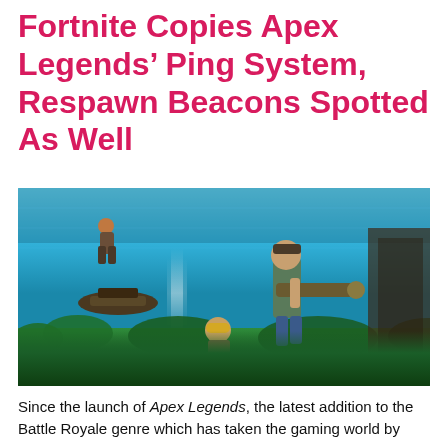Fortnite Copies Apex Legends' Ping System, Respawn Beacons Spotted As Well
[Figure (photo): Fortnite game screenshot showing characters running across a grassy landscape with blue sky and light beams, featuring prominently a character holding a rocket launcher in the foreground.]
Since the launch of Apex Legends, the latest addition to the Battle Royale genre which has taken the gaming world by